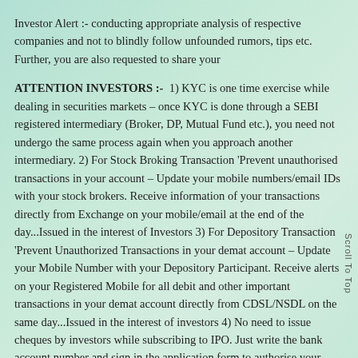Investor Alert :- conducting appropriate analysis of respective companies and not to blindly follow unfounded rumors, tips etc. Further, you are also requested to share your
ATTENTION INVESTORS :- 1) KYC is one time exercise while dealing in securities markets – once KYC is done through a SEBI registered intermediary (Broker, DP, Mutual Fund etc.), you need not undergo the same process again when you approach another intermediary. 2) For Stock Broking Transaction 'Prevent unauthorised transactions in your account – Update your mobile numbers/email IDs with your stock brokers. Receive information of your transactions directly from Exchange on your mobile/email at the end of the day...Issued in the interest of Investors 3) For Depository Transaction 'Prevent Unauthorized Transactions in your demat account – Update your Mobile Number with your Depository Participant. Receive alerts on your Registered Mobile for all debit and other important transactions in your demat account directly from CDSL/NSDL on the same day...Issued in the interest of investors 4) No need to issue cheques by investors while subscribing to IPO. Just write the bank account number and sign in the application form to authorise your bank to make payment in case of allotment. No worries for